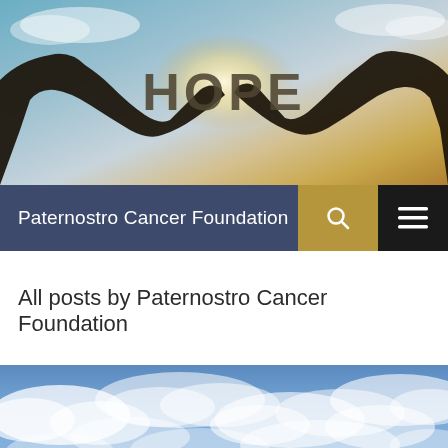[Figure (photo): Hero banner image showing two silhouetted hands holding up letters spelling 'HOPE' against a bright backlit sky with clouds]
Paternostro Cancer Foundation
All posts by Paternostro Cancer Foundation
[Figure (photo): Blue sky with white fluffy clouds]
Follow ...